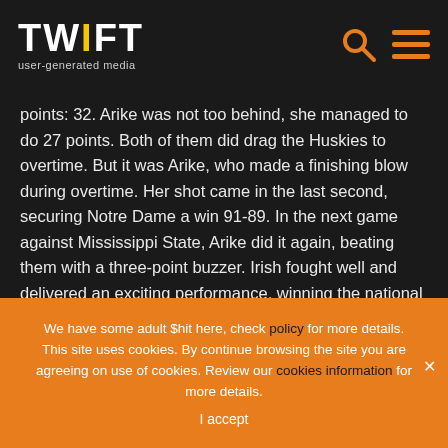TWIFT user-generated media
points: 32. Arike was not too behind, she managed to do 27 points. Both of them did drag the Huskies to overtime. But it was Arike, who made a finishing blow during overtime. Her shot came in the last second, securing Notre Dame a win 91-89. In the next game against Mississippi State, Arike did it again, beating them with a three-point buzzer. Irish fought well and delivered an exciting performance, winning the national championship.
2. Oklahoma Sooners vs. Kansas Jayhawks on the 4th
We have some adult $hit here, check policy for more details. This site uses cookies. By continue browsing the site you are agreeing on use of cookies. Review our cookies information for more details.
I accept